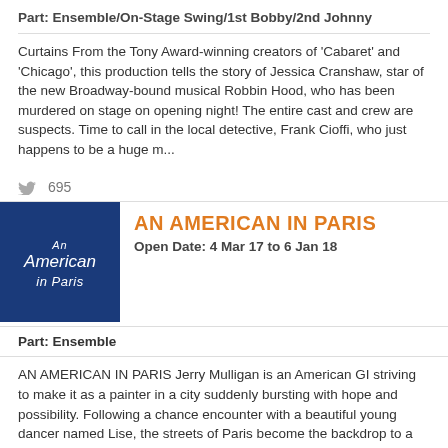Part: Ensemble/On-Stage Swing/1st Bobby/2nd Johnny
Curtains From the Tony Award-winning creators of 'Cabaret' and 'Chicago', this production tells the story of Jessica Cranshaw, star of the new Broadway-bound musical Robbin Hood, who has been murdered on stage on opening night! The entire cast and crew are suspects. Time to call in the local detective, Frank Cioffi, who just happens to be a huge m...
695
AN AMERICAN IN PARIS
Open Date: 4 Mar 17 to 6 Jan 18
Part: Ensemble
AN AMERICAN IN PARIS Jerry Mulligan is an American GI striving to make it as a painter in a city suddenly bursting with hope and possibility. Following a chance encounter with a beautiful young dancer named Lise, the streets of Paris become the backdrop to a sensuous, modern romance of art, friendship and love in the aftermath of war... Inspired ...
4,042
14,892
STRICTLY BALLROOM